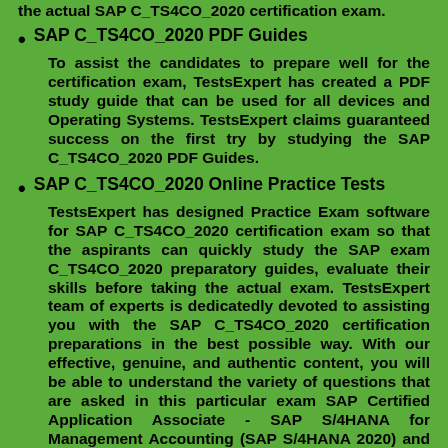the actual SAP C_TS4CO_2020 certification exam.
SAP C_TS4CO_2020 PDF Guides
To assist the candidates to prepare well for the certification exam, TestsExpert has created a PDF study guide that can be used for all devices and Operating Systems. TestsExpert claims guaranteed success on the first try by studying the SAP C_TS4CO_2020 PDF Guides.
SAP C_TS4CO_2020 Online Practice Tests
TestsExpert has designed Practice Exam software for SAP C_TS4CO_2020 certification exam so that the aspirants can quickly study the SAP exam C_TS4CO_2020 preparatory guides, evaluate their skills before taking the actual exam. TestsExpert team of experts is dedicatedly devoted to assisting you with the SAP C_TS4CO_2020 certification preparations in the best possible way. With our effective, genuine, and authentic content, you will be able to understand the variety of questions that are asked in this particular exam SAP Certified Application Associate - SAP S/4HANA for Management Accounting (SAP S/4HANA 2020) and aid you to pass the SAP